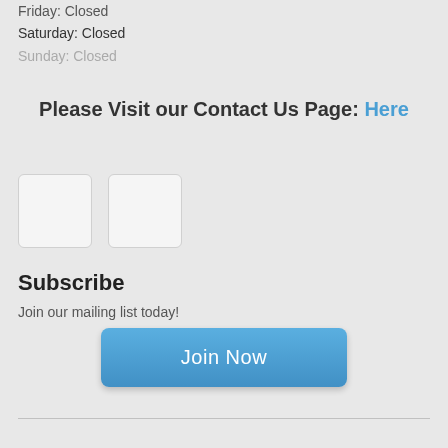Friday: Closed
Saturday: Closed
Sunday: Closed
Please Visit our Contact Us Page: Here
[Figure (other): Two small white icon placeholder boxes with rounded corners]
Subscribe
Join our mailing list today!
Join Now